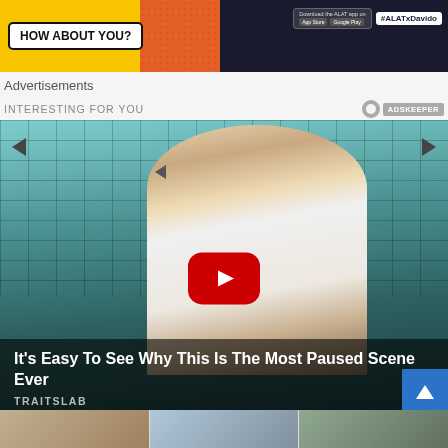[Figure (photo): Top banner advertisement for ALAT showing 'HOW ABOUT YOU?' speech bubble on yellow background with a man in suit, #ALATxDavido hashtag]
Advertisements
INTERESTING FOR YOU
[Figure (photo): Video thumbnail showing a woman seated in a chair against a tiled wall background with a YouTube play button overlay]
It's Easy To See Why This Is The Most Paused Scene Ever
TRAITSLAB
[Figure (photo): Bottom strip showing partially visible thumbnail images]